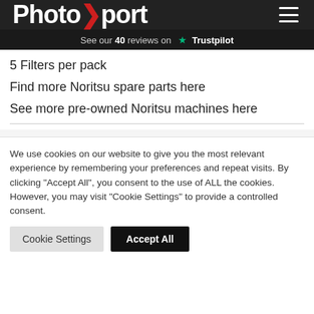PhotoXport
See our 40 reviews on Trustpilot
5 Filters per pack
Find more Noritsu spare parts here
See more pre-owned Noritsu machines here
We use cookies on our website to give you the most relevant experience by remembering your preferences and repeat visits. By clicking "Accept All", you consent to the use of ALL the cookies. However, you may visit "Cookie Settings" to provide a controlled consent.
Cookie Settings | Accept All